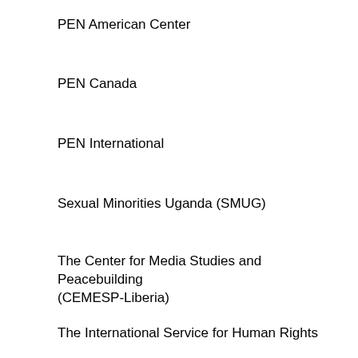PEN American Center
PEN Canada
PEN International
Sexual Minorities Uganda (SMUG)
The Center for Media Studies and Peacebuilding (CEMESP-Liberia)
The International Service for Human Rights
World Association of Community Radio Broadcasters (AMARC)
World Organization Against Torture (OMCT)
Cc: Mr. David Drake, Ambassador of Canada to Egypt
The Honourable John Baird, Canadian Minister of Foreign Affairs